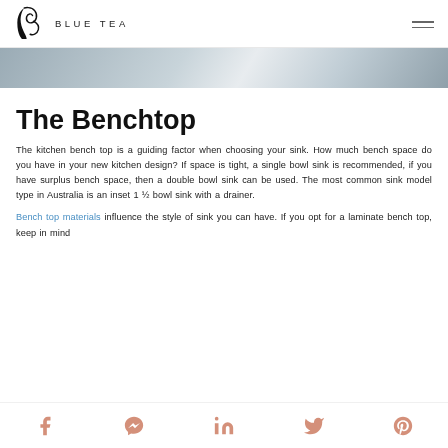BLUE TEA
[Figure (photo): Partial hero image showing a dark kitchen surface/sink, cropped at top]
The Benchtop
The kitchen bench top is a guiding factor when choosing your sink. How much bench space do you have in your new kitchen design? If space is tight, a single bowl sink is recommended, if you have surplus bench space, then a double bowl sink can be used. The most common sink model type in Australia is an inset 1 ½ bowl sink with a drainer.
Bench top materials influence the style of sink you can have. If you opt for a laminate bench top, keep in mind
Facebook Messenger LinkedIn Twitter Pinterest